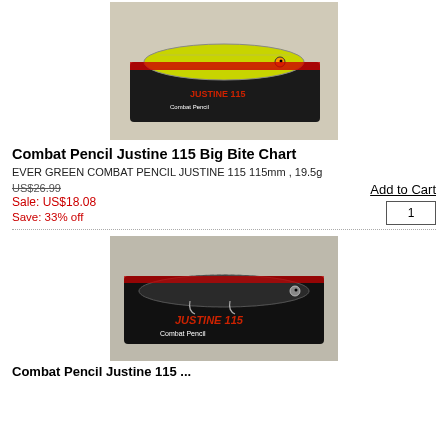[Figure (photo): Product photo of Combat Pencil Justine 115 Big Bite Chart fishing lure in yellow-green color on packaging]
Combat Pencil Justine 115 Big Bite Chart
EVER GREEN COMBAT PENCIL JUSTINE 115 115mm , 19.5g
US$26.99
Sale: US$18.08
Save: 33% off
Add to Cart
[Figure (photo): Product photo of Combat Pencil Justine 115 fishing lure in dark/black color on packaging]
Combat Pencil Justine 115 ...